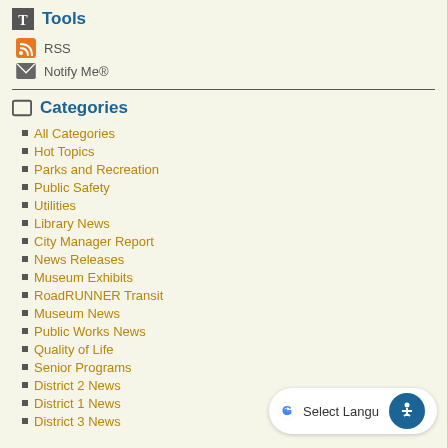Tools
RSS
Notify Me®
Categories
All Categories
Hot Topics
Parks and Recreation
Public Safety
Utilities
Library News
City Manager Report
News Releases
Museum Exhibits
RoadRUNNER Transit
Museum News
Public Works News
Quality of Life
Senior Programs
District 2 News
District 1 News
District 3 News